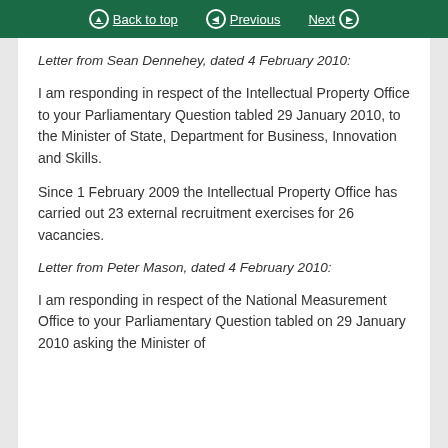Back to top   Previous   Next
Letter from Sean Dennehey, dated 4 February 2010:
I am responding in respect of the Intellectual Property Office to your Parliamentary Question tabled 29 January 2010, to the Minister of State, Department for Business, Innovation and Skills.
Since 1 February 2009 the Intellectual Property Office has carried out 23 external recruitment exercises for 26 vacancies.
Letter from Peter Mason, dated 4 February 2010:
I am responding in respect of the National Measurement Office to your Parliamentary Question tabled on 29 January 2010 asking the Minister of